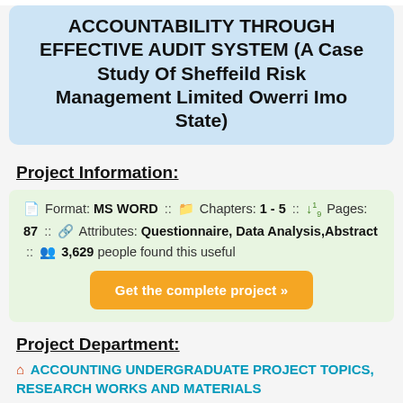ACCOUNTABILITY THROUGH EFFECTIVE AUDIT SYSTEM (A Case Study Of Sheffeild Risk Management Limited Owerri Imo State)
Project Information:
Format: MS WORD :: Chapters: 1 - 5 :: Pages: 87 :: Attributes: Questionnaire, Data Analysis,Abstract :: 3,629 people found this useful
Get the complete project »
Project Department:
ACCOUNTING UNDERGRADUATE PROJECT TOPICS, RESEARCH WORKS AND MATERIALS